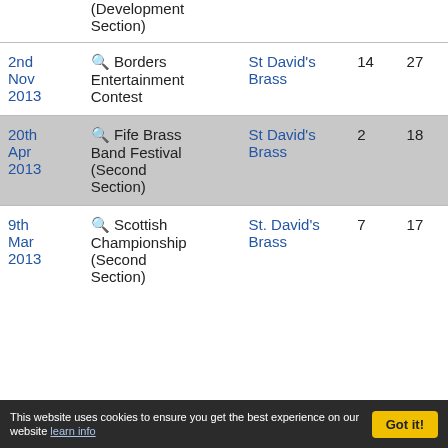| Date | Contest | Band | Position | Bands |
| --- | --- | --- | --- | --- |
| (Development
Section) |  |  |  |  |
| 2nd Nov 2013 | 🔍 Borders Entertainment Contest | St David's Brass | 14 | 27 |
| 20th Apr 2013 | 🔍 Fife Brass Band Festival (Second Section) | St David's Brass | 2 | 18 |
| 9th Mar 2013 | 🔍 Scottish Championship (Second Section) | St. David's Brass | 7 | 17 |
This website uses cookies to ensure you get the best experience on our website learn info